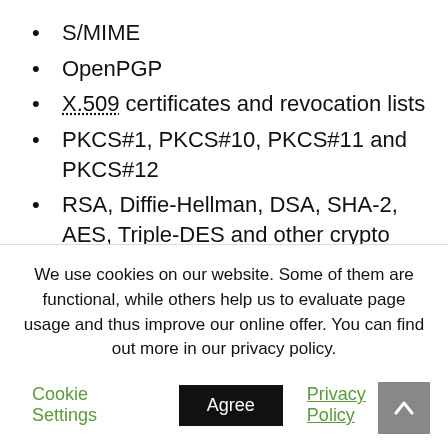S/MIME
OpenPGP
X.509 certificates and revocation lists
PKCS#1, PKCS#10, PKCS#11 and PKCS#12
RSA, Diffie-Hellman, DSA, SHA-2, AES, Triple-DES and other crypto algorithms
We use cookies on our website. Some of them are functional, while others help us to evaluate page usage and thus improve our online offer. You can find out more in our privacy policy.
Cookie Settings | Agree | Privacy Policy